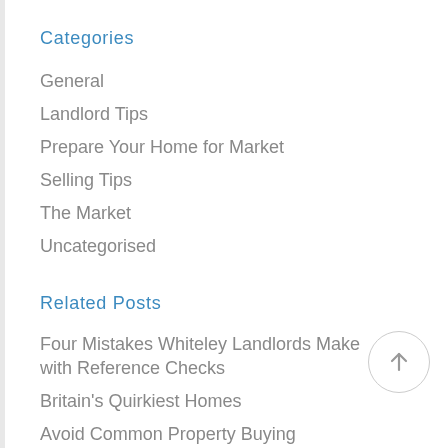Categories
General
Landlord Tips
Prepare Your Home for Market
Selling Tips
The Market
Uncategorised
Related Posts
Four Mistakes Whiteley Landlords Make with Reference Checks
Britain's Quirkiest Homes
Avoid Common Property Buying Mistakes in Locks Heath